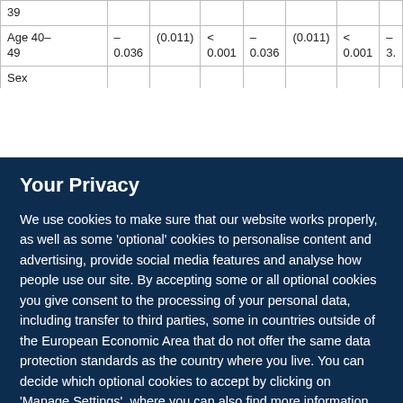| 39 |  |  |  |  |  |  |  |
| Age 40–49 | –
0.036 | (0.011) | <
0.001 | –
0.036 | (0.011) | <
0.001 | –3. |
| Sex |  |  |  |  |  |  |  |
Your Privacy
We use cookies to make sure that our website works properly, as well as some 'optional' cookies to personalise content and advertising, provide social media features and analyse how people use our site. By accepting some or all optional cookies you give consent to the processing of your personal data, including transfer to third parties, some in countries outside of the European Economic Area that do not offer the same data protection standards as the country where you live. You can decide which optional cookies to accept by clicking on 'Manage Settings', where you can also find more information about how your personal data is processed. Further information can be found in our privacy policy.